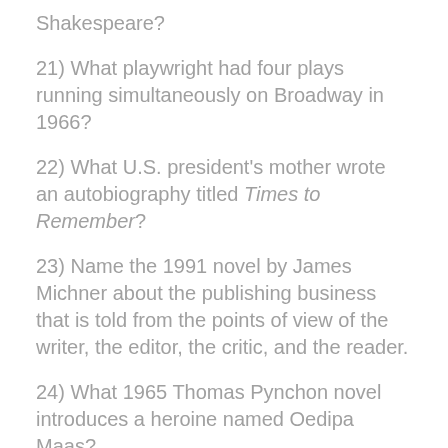Shakespeare?
21) What playwright had four plays running simultaneously on Broadway in 1966?
22) What U.S. president's mother wrote an autobiography titled Times to Remember?
23) Name the 1991 novel by James Michner about the publishing business that is told from the points of view of the writer, the editor, the critic, and the reader.
24) What 1965 Thomas Pynchon novel introduces a heroine named Oedipa Maas?
25) Who took time off from writing tales of the high seas to pen Picasso: A Biography and Joseph Banks: A